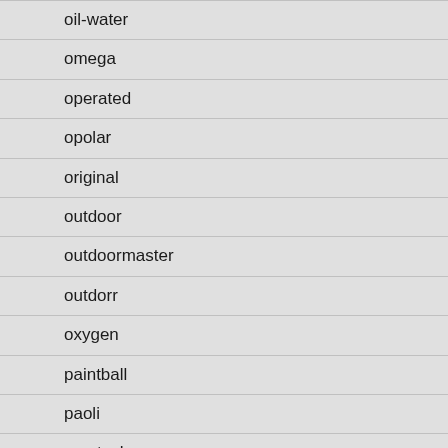oil-water
omega
operated
opolar
original
outdoor
outdoormaster
outdorr
oxygen
paintball
paoli
parctech